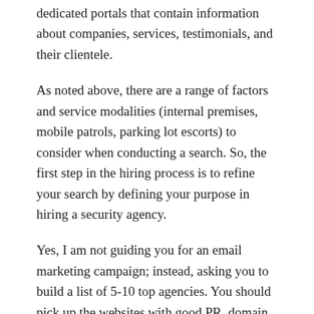dedicated portals that contain information about companies, services, testimonials, and their clientele.
As noted above, there are a range of factors and service modalities (internal premises, mobile patrols, parking lot escorts) to consider when conducting a search. So, the first step in the hiring process is to refine your search by defining your purpose in hiring a security agency.
Yes, I am not guiding you for an email marketing campaign; instead, asking you to build a list of 5-10 top agencies. You should pick up the websites with good PR, domain authority, complete information, diverse experience, authentic testimonial, location, and pricing. Local business directories or search engines can be a great source of information here.